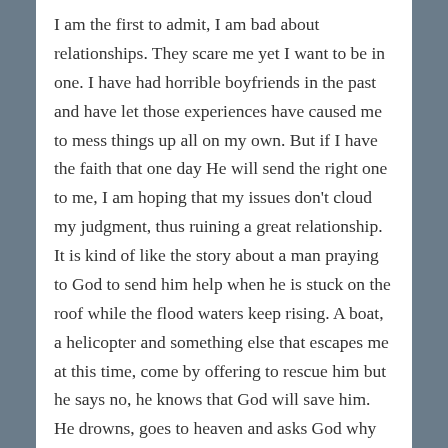I am the first to admit, I am bad about relationships. They scare me yet I want to be in one. I have had horrible boyfriends in the past and have let those experiences have caused me to mess things up all on my own. But if I have the faith that one day He will send the right one to me, I am hoping that my issues don't cloud my judgment, thus ruining a great relationship. It is kind of like the story about a man praying to God to send him help when he is stuck on the roof while the flood waters keep rising. A boat, a helicopter and something else that escapes me at this time, come by offering to rescue him but he says no, he knows that God will save him. He drowns, goes to heaven and asks God why he didn't save him. Well, I sent you the boat, a helicopter. . . yet you turned them all down. Sometimes God sends us people that he knows will help the situation, you just have to trust Him. I may have been guilty of this in the past so